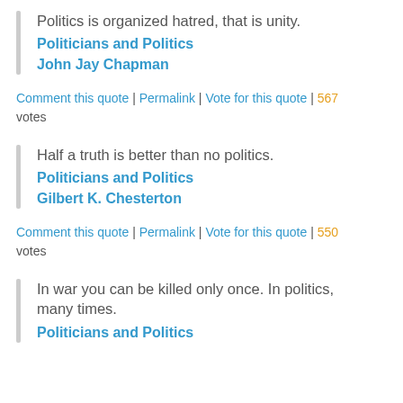Politics is organized hatred, that is unity.
Politicians and Politics
John Jay Chapman
Comment this quote | Permalink | Vote for this quote | 567 votes
Half a truth is better than no politics.
Politicians and Politics
Gilbert K. Chesterton
Comment this quote | Permalink | Vote for this quote | 550 votes
In war you can be killed only once. In politics, many times.
Politicians and Politics